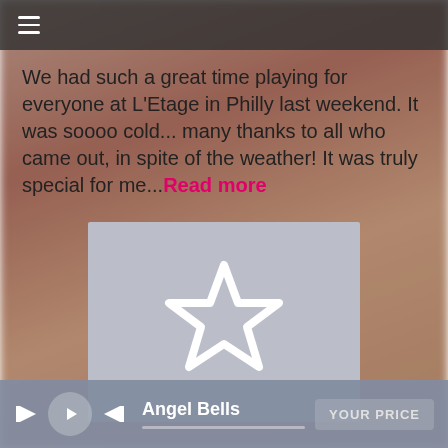[Figure (screenshot): Blurred floral/reddish background image filling the page]
≡ (hamburger menu icon)
We had such a great time playing for everyone at L'Etage in Philly last weekend. It was soooo cold... many thanks to all who came out, in spite of the weather! It was truly special for me...Read more
[Figure (illustration): Light gray album art placeholder with a white star outline icon in the center]
Angel Bells  YOUR PRICE